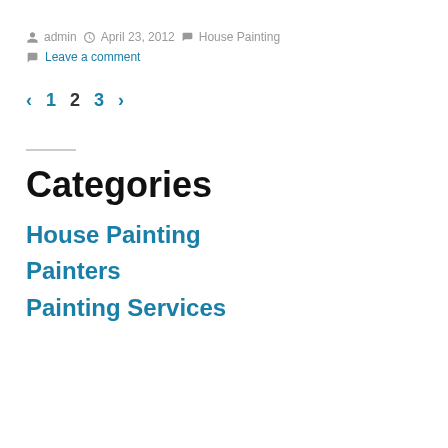Posted by admin  April 23, 2012  House Painting
Leave a comment
‹ 1 2 3 ›
Categories
House Painting
Painters
Painting Services